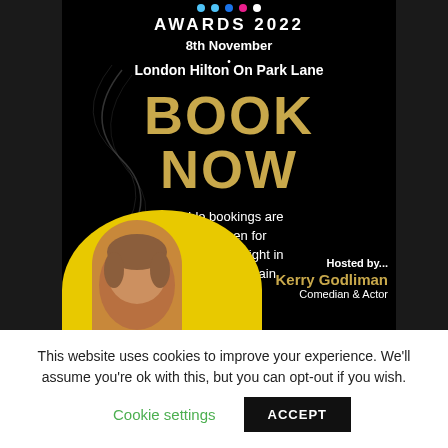[Figure (illustration): Awards 2022 event promotional poster on black background with gold 'BOOK NOW' text, date '8th November', venue 'London Hilton On Park Lane', decorative wave graphic, yellow circle with person's head at bottom left, hosted by Kerry Godliman Comedian & Actor. Colored dots (blue, pink, white) at top.]
This website uses cookies to improve your experience. We'll assume you're ok with this, but you can opt-out if you wish.
Cookie settings
ACCEPT